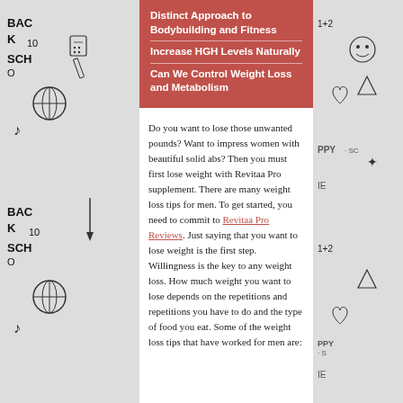Distinct Approach to Bodybuilding and Fitness
Increase HGH Levels Naturally
Can We Control Weight Loss and Metabolism
Do you want to lose those unwanted pounds? Want to impress women with beautiful solid abs? Then you must first lose weight with Revitaa Pro supplement. There are many weight loss tips for men. To get started, you need to commit to Revitaa Pro Reviews. Just saying that you want to lose weight is the first step. Willingness is the key to any weight loss. How much weight you want to lose depends on the repetitions and repetitions you have to do and the type of food you eat. Some of the weight loss tips that have worked for men are: